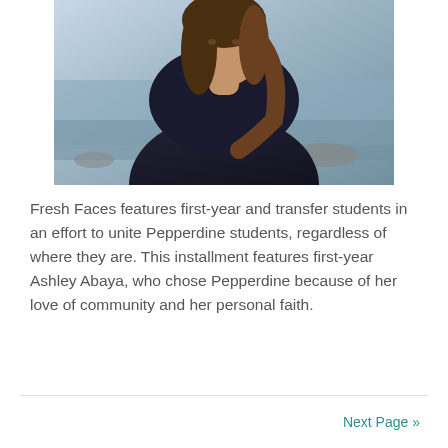[Figure (photo): A young woman with long hair wearing a dark navy sweater, photographed outdoors near a rocky beach with ocean water visible in the background.]
Fresh Faces features first-year and transfer students in an effort to unite Pepperdine students, regardless of where they are. This installment features first-year Ashley Abaya, who chose Pepperdine because of her love of community and her personal faith.
Next Page »